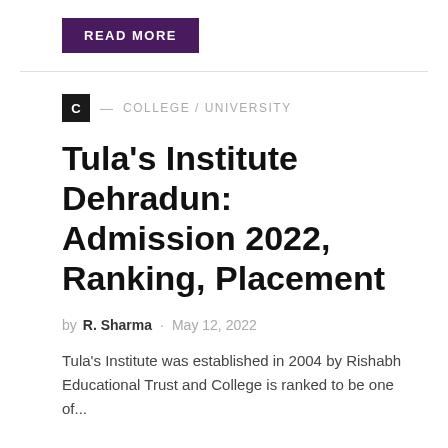READ MORE
C — COLLEGE / UNIVERSITY
Tula's Institute Dehradun: Admission 2022, Ranking, Placement
by R. Sharma · May 12, 2022
Tula's Institute was established in 2004 by Rishabh Educational Trust and College is ranked to be one of...